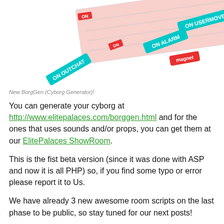[Figure (illustration): A tilted image/card showing cyborg generation interface with colored labels: ON OUTCHAT, ON ALARM, ON USERMOVE, magnet in teal and red text]
New BorgGen (Cyborg Generator)!
You can generate your cyborg at http://www.elitepalaces.com/borggen.html and for the ones that uses sounds and/or props, you can get them at our ElitePalaces ShowRoom.
This is the fist beta version (since it was done with ASP and now it is all PHP) so, if you find some typo or error please report it to Us.
We have already 3 new awesome room scripts on the last phase to be public, so stay tuned for our next posts!
I hope you enjoy your palace experience with PalaceChat and a lot of great cyborg scripts!